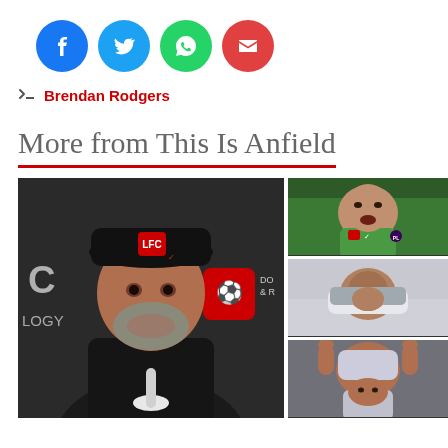[Figure (other): Social media share buttons: Facebook (blue), Twitter (light blue), WhatsApp (green), Email (red), all circular icons]
Brendan Rodgers
More from This Is Anfield
[Figure (photo): Large photo of Jurgen Klopp in a black LFC cap at a press conference, with a Manchester United logo sign visible in background. Three smaller stacked photos on the right: top - goalkeeper Alisson in green kit shouting; middle - a player wiping face with shirt; bottom - a player pulling shirt over head.]